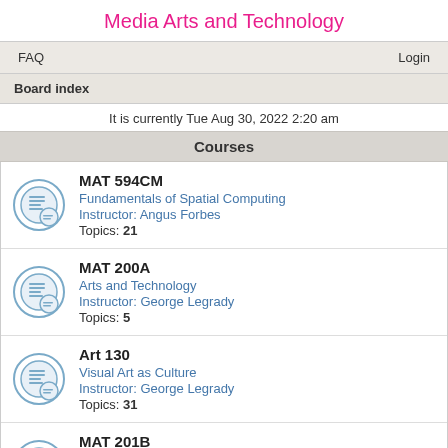Media Arts and Technology
FAQ    Login
Board index
It is currently Tue Aug 30, 2022 2:20 am
Courses
MAT 594CM
Fundamentals of Spatial Computing
Instructor: Angus Forbes
Topics: 21
MAT 200A
Arts and Technology
Instructor: George Legrady
Topics: 5
Art 130
Visual Art as Culture
Instructor: George Legrady
Topics: 31
MAT 201B
Programming with Media Data
Instructor: Angus Forbes
Topics: 25
MAT 259